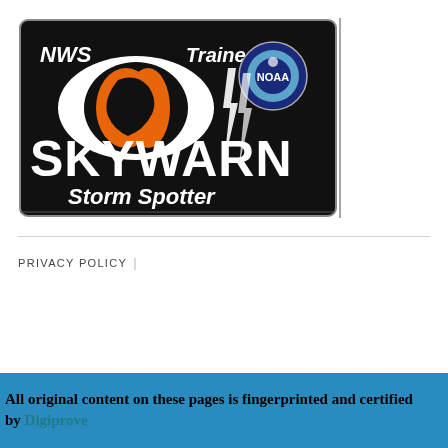[Figure (logo): SKYWARN Storm Spotter NWS Trained NOAA logo on black background with eye and lightning bolt graphic]
PRIVACY POLICY
All original content on these pages is fingerprinted and certified by Digiprove